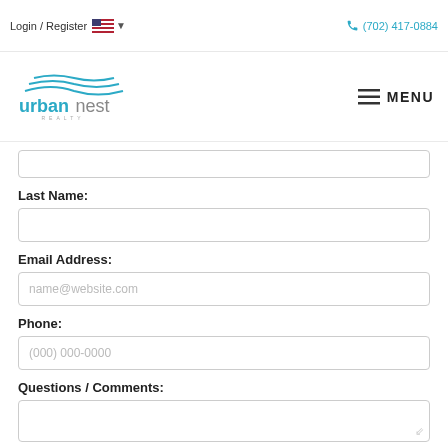Login / Register  🇺🇸 ▾   (702) 417-0884
[Figure (logo): Urban Nest Realty logo with teal wave lines above stylized text]
MENU
Last Name:
Email Address:
Phone:
Questions / Comments: